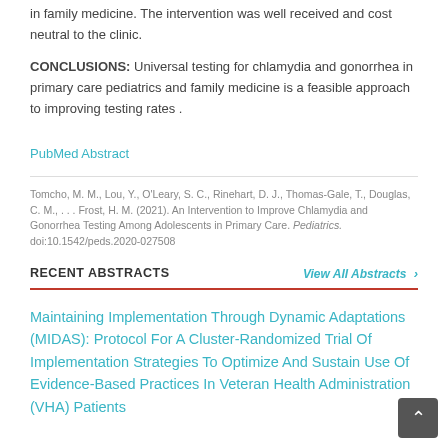in family medicine. The intervention was well received and cost neutral to the clinic.
CONCLUSIONS: Universal testing for chlamydia and gonorrhea in primary care pediatrics and family medicine is a feasible approach to improving testing rates .
PubMed Abstract
Tomcho, M. M., Lou, Y., O'Leary, S. C., Rinehart, D. J., Thomas-Gale, T., Douglas, C. M., . . . Frost, H. M. (2021). An Intervention to Improve Chlamydia and Gonorrhea Testing Among Adolescents in Primary Care. Pediatrics. doi:10.1542/peds.2020-027508
RECENT ABSTRACTS
View All Abstracts ›
Maintaining Implementation Through Dynamic Adaptations (MIDAS): Protocol For A Cluster-Randomized Trial Of Implementation Strategies To Optimize And Sustain Use Of Evidence-Based Practices In Veteran Health Administration (VHA) Patients